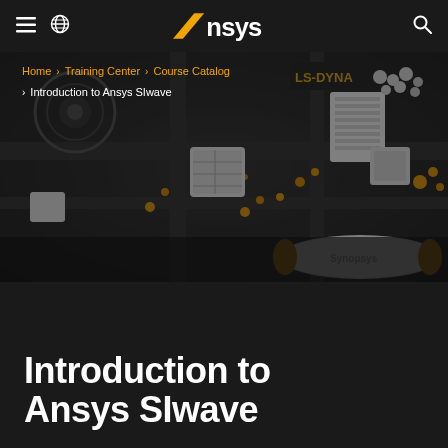Ansys navigation bar with hamburger menu, globe icon, Ansys logo, and search icon
[Figure (screenshot): Hero image showing a dark 3D render of electronic/circuit board components including modules labeled LS-DYNA and Synopsys, with gold and white colored elements on a dark grey background]
Home › Training Center › Course Catalog › Introduction to Ansys SIwave
Introduction to Ansys SIwave